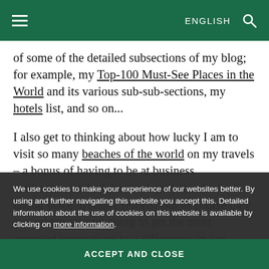≡  ENGLISH 🔍
of some of the detailed subsections of my blog; for example, my Top-100 Must-See Places in the World and its various sub-sub-sections, my hotels list, and so on...
I also get to thinking about how lucky I am to visit so many beaches of the world on my travels – a bonus of having to be at business conferences, which have a handy knack of taking place in sunny resorts. But of course they are: where are you going to get the most unexpected innovations to a conference, in say, which city. Having years of experience in say which country. And I can even give rankings of the best resorts/beaches/conference...
We use cookies to make your experience of our websites better. By using and further navigating this website you accept this. Detailed information about the use of cookies on this website is available by clicking on more information.
ACCEPT AND CLOSE